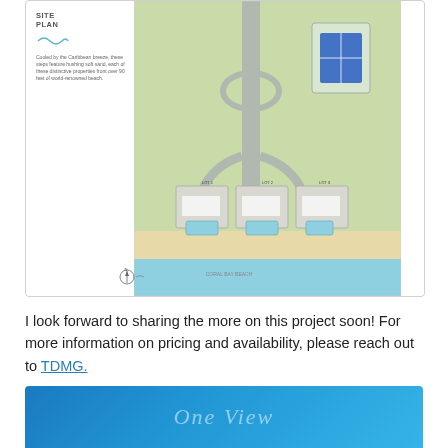[Figure (schematic): Site plan diagram showing aerial layout of beachfront villa properties with tennis court, pool areas, roads, and landscaping. Three villa clusters arranged near the beach with a central access road.]
SITE
PLAN
Cooled by the Caribbean breeze, these steps feature hushing soft sand, each of these distinctive properties front over 90 feet of world-renowned beach.
I look forward to sharing the more on this project soon! For more information on pricing and availability, please reach out to TDMG.
[Figure (other): Blue gradient banner at bottom with cursive script text]